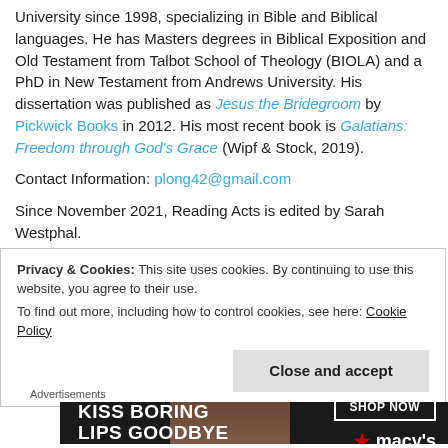University since 1998, specializing in Bible and Biblical languages. He has Masters degrees in Biblical Exposition and Old Testament from Talbot School of Theology (BIOLA) and a PhD in New Testament from Andrews University. His dissertation was published as Jesus the Bridegroom by Pickwick Books in 2012. His most recent book is Galatians: Freedom through God's Grace (Wipf & Stock, 2019).
Contact Information: plong42@gmail.com
Since November 2021, Reading Acts is edited by Sarah Westphal.
Privacy & Cookies: This site uses cookies. By continuing to use this website, you agree to their use.
To find out more, including how to control cookies, see here: Cookie Policy
[Figure (other): Macy's advertisement banner reading 'KISS BORING LIPS GOODBYE' with a SHOP NOW button and Macy's logo with red star, dark background with model face]
Advertisements